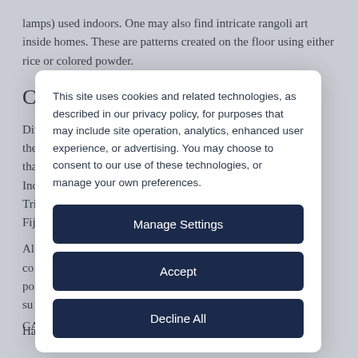lamps) used indoors. One may also find intricate rangoli art inside homes. These are patterns created on the floor using either rice or colored powder.
Celebrated Around the World
Diwali is celebrated by Hindus, Sikhs, and Jains, with each of the... ance tha... y in Ind... Tri... Fij...
Al... nd co... for po... su...
Ha...
CA...
This site uses cookies and related technologies, as described in our privacy policy, for purposes that may include site operation, analytics, enhanced user experience, or advertising. You may choose to consent to our use of these technologies, or manage your own preferences.